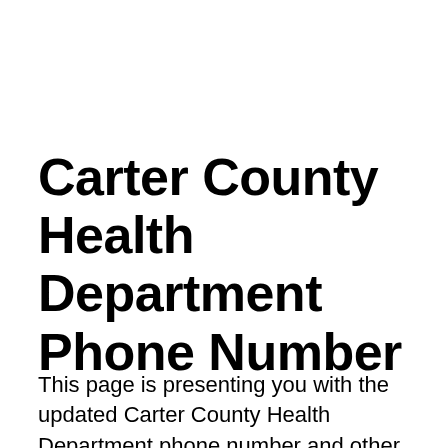Carter County Health Department Phone Number
This page is presenting you with the updated Carter County Health Department phone number and other related information, all free for users,